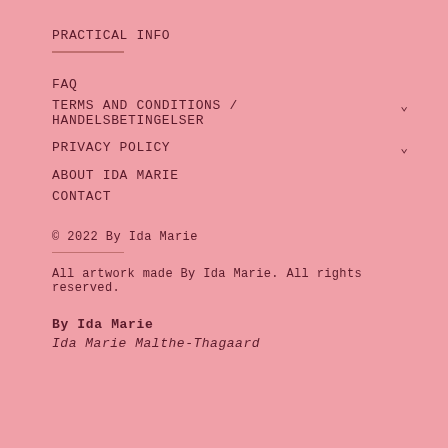PRACTICAL INFO
FAQ
TERMS AND CONDITIONS / HANDELSBETINGELSER
PRIVACY POLICY
ABOUT IDA MARIE
CONTACT
© 2022 By Ida Marie
All artwork made By Ida Marie. All rights reserved.
By Ida Marie
Ida Marie Malthe-Thagaard